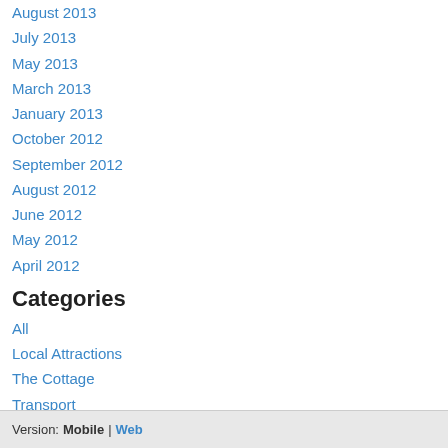August 2013
July 2013
May 2013
March 2013
January 2013
October 2012
September 2012
August 2012
June 2012
May 2012
April 2012
Categories
All
Local Attractions
The Cottage
Transport
RSS Feed
Version:  Mobile | Web